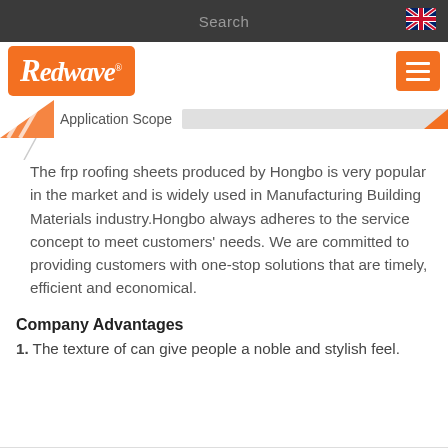Search
[Figure (logo): Redwave company logo in orange rounded rectangle]
Application Scope
The frp roofing sheets produced by Hongbo is very popular in the market and is widely used in Manufacturing Building Materials industry.Hongbo always adheres to the service concept to meet customers' needs. We are committed to providing customers with one-stop solutions that are timely, efficient and economical.
Company Advantages
1. The texture of can give people a noble and stylish feel.